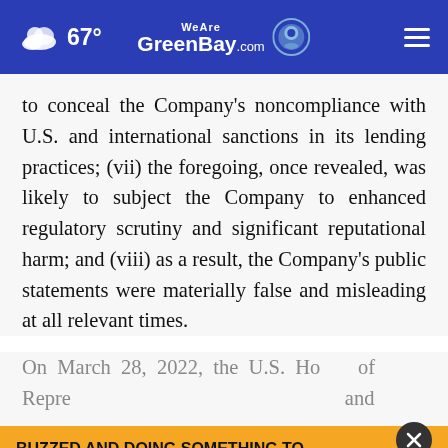67° WeAreGreenBay.com
to conceal the Company's noncompliance with U.S. and international sanctions in its lending practices; (vii) the foregoing, once revealed, was likely to subject the Company to enhanced regulatory scrutiny and significant reputational harm; and (viii) as a result, the Company's public statements were materially false and misleading at all relevant times.
On March 28, 2022, the U.S. House of Repre... and
BUZZED AND DOING SOMETHING TO MAKE YOURSELF OKAY TO DRIVE?